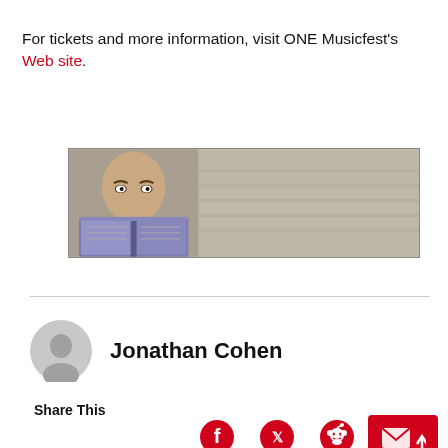For tickets and more information, visit ONE Musicfest's Web site.
[Figure (photo): A bald person peering over the top of an open book, horizontal banner-style cropped image with beige/tan background]
Jonathan Cohen
Share This
[Figure (infographic): Social sharing icons: Facebook, Twitter, Reddit, and a scroll-to-top button]